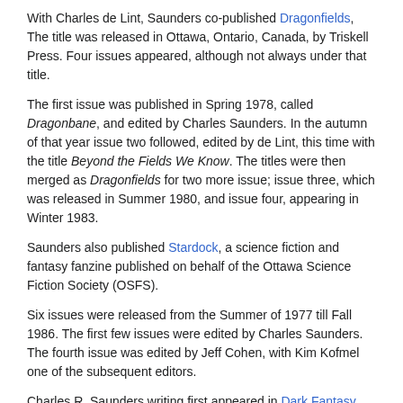With Charles de Lint, Saunders co-published Dragonfields, The title was released in Ottawa, Ontario, Canada, by Triskell Press. Four issues appeared, although not always under that title.
The first issue was published in Spring 1978, called Dragonbane, and edited by Charles Saunders. In the autumn of that year issue two followed, edited by de Lint, this time with the title Beyond the Fields We Know. The titles were then merged as Dragonfields for two more issue; issue three, which was released in Summer 1980, and issue four, appearing in Winter 1983.
Saunders also published Stardock, a science fiction and fantasy fanzine published on behalf of the Ottawa Science Fiction Society (OSFS).
Six issues were released from the Summer of 1977 till Fall 1986. The first few issues were edited by Charles Saunders. The fourth issue was edited by Jeff Cohen, with Kim Kofmel one of the subsequent editors.
Charles R. Saunders writing first appeared in Dark Fantasy. This zine, first published by Howard Eugene 'Gene' Day in 1973, is noted for featuring the first publication of the "Imaro" stories of Charles Saunders. The lack of black protagonists and the stereotyped portrayal of black characters in heroic fiction, combined with a love of African culture, history and mythology, inspired Sauders to create the "Imaro" character and stories. Several issues featured these stories, and issue 18 was the "All Imaro Issue".